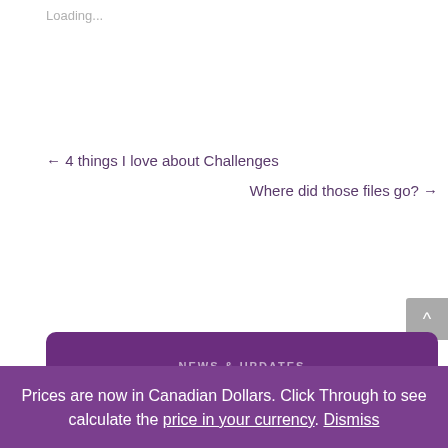Loading...
← 4 things I love about Challenges
Where did those files go? →
NEWS & UPDATES
Prices are now in Canadian Dollars. Click Through to see calculate the price in your currency. Dismiss